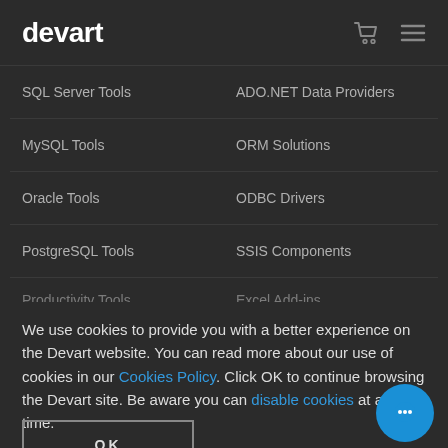devart
SQL Server Tools
ADO.NET Data Providers
MySQL Tools
ORM Solutions
Oracle Tools
ODBC Drivers
PostgreSQL Tools
SSIS Components
Productivity Tools
Excel Add-ins
We use cookies to provide you with a better experience on the Devart website. You can read more about our use of cookies in our Cookies Policy. Click OK to continue browsing the Devart site. Be aware you can disable cookies at any time.
OK